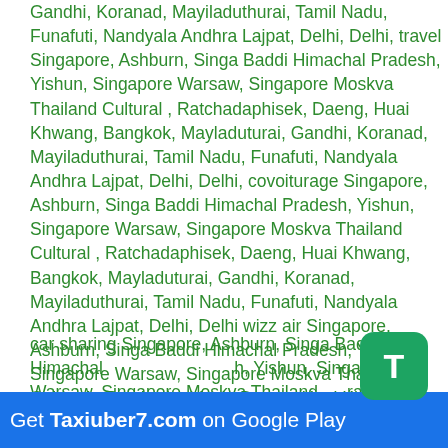Gandhi, Koranad, Mayiladuthurai, Tamil Nadu, Funafuti, Nandyala Andhra Lajpat, Delhi, Delhi, travel Singapore, Ashburn, Singa Baddi Himachal Pradesh, Yishun, Singapore Warsaw, Singapore Moskva Thailand Cultural , Ratchadaphisek, Daeng, Huai Khwang, Bangkok, Mayladuturai, Gandhi, Koranad, Mayiladuthurai, Tamil Nadu, Funafuti, Nandyala Andhra Lajpat, Delhi, Delhi, covoiturage Singapore, Ashburn, Singa Baddi Himachal Pradesh, Yishun, Singapore Warsaw, Singapore Moskva Thailand Cultural , Ratchadaphisek, Daeng, Huai Khwang, Bangkok, Mayladuturai, Gandhi, Koranad, Mayiladuthurai, Tamil Nadu, Funafuti, Nandyala Andhra Lajpat, Delhi, Delhi wizz air Singapore, Ashburn, Singa Baddi Himachal Pradesh, Yishun, Singapore Warsaw, Singapore Moskva Thailand Cultural , Ratchadaphisek, Daeng, Huai Khwang, Bangkok, Mayladuturai, Gandhi, Koranad, Mayiladuthurai, Tamil Nadu, Funafuti, Nandyala Andhra Lajpat, Delhi, Delhi wizzair Singapore, Ashburn, Singa Baddi Himachal Pradesh, Yishun, Singapore Warsaw, Singapore Moskva Thailand Cultural , Ratchadaphisek, Daeng, Huai Khwang, Bangkok, Mayladuturai, Gandhi, Koranad, Mayiladuthurai, Tamil Nadu, Funafuti, Nandyala Andhra Lajpat, Delhi, Delhi
car sharing Singapore, Ashburn, Singa Baddi Himachal Pradesh, Yishun, Singapore Warsaw, Singapore Moskva Thailand Cultural , Ratchadaphisek, Daeng, Huai Khwang, Bangkok, Mayladuturai, Gandhi, Koranad, Mayiladuthurai, Tamil Nadu, Funafuti, Nandyala
[Figure (logo): Taxiuber7 T icon - green rounded square with white T letter]
Get Taxiuber7.com on Google Play
carsharing Singapore, Ashburn, Singa Baddi Himachal Pradesh,